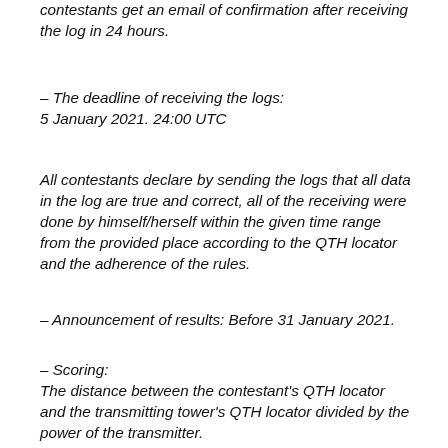contestants get an email of confirmation after receiving the log in 24 hours.
– The deadline of receiving the logs:
5 January 2021. 24:00 UTC
All contestants declare by sending the logs that all data in the log are true and correct, all of the receiving were done by himself/herself within the given time range from the provided place according to the QTH locator and the adherence of the rules.
– Announcement of results: Before 31 January 2021.
– Scoring:
The distance between the contestant's QTH locator and the transmitting tower's QTH locator divided by the power of the transmitter.
The distance between QTH is dimensioned in kilometers